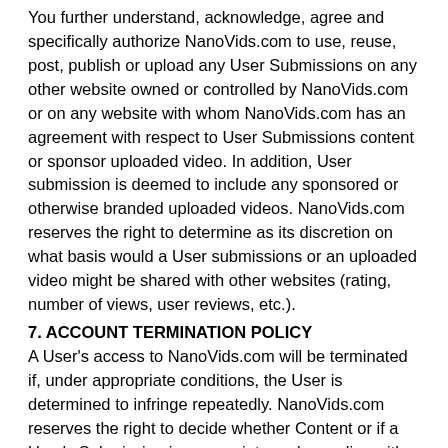You further understand, acknowledge, agree and specifically authorize NanoVids.com to use, reuse, post, publish or upload any User Submissions on any other website owned or controlled by NanoVids.com or on any website with whom NanoVids.com has an agreement with respect to User Submissions content or sponsor uploaded video. In addition, User submission is deemed to include any sponsored or otherwise branded uploaded videos. NanoVids.com reserves the right to determine as its discretion on what basis would a User submissions or an uploaded video might be shared with other websites (rating, number of views, user reviews, etc.).
7. ACCOUNT TERMINATION POLICY
A User's access to NanoVids.com will be terminated if, under appropriate conditions, the User is determined to infringe repeatedly. NanoVids.com reserves the right to decide whether Content or if a User's Submission is appropriate and complies with these Terms and Conditions in regards to violations other than copyright infringement or privacy law, such as, but not limited to, hate crimes, pornography, obscene or defamatory material, or